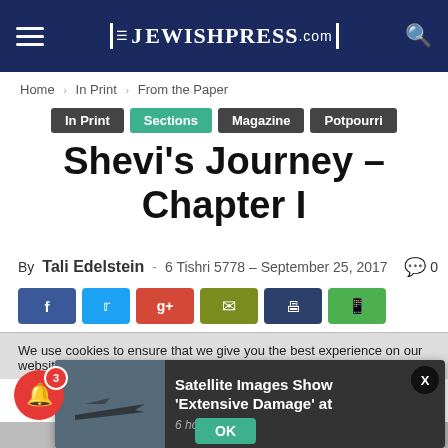JewishPress.com
Home › In Print › From the Paper
In Print  Sections  Magazine  Potpourri
Shevi's Journey – Chapter I
By Tali Edelstein - 6 Tishri 5778 – September 25, 2017  0
[Figure (screenshot): Social share buttons: Facebook, Twitter, Google+, Email, Print, WhatsApp]
We use cookies to ensure that we give you the best experience on our website. If yo...
[Figure (screenshot): Popup notification showing a jet aircraft image with headline 'Satellite Images Show Extensive Damage at' and '6 hours ago']
[Figure (other): Red bell notification badge with count 3]